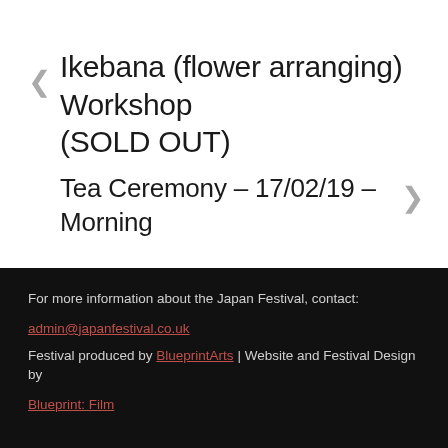Ikebana (flower arranging) Workshop (SOLD OUT)
Tea Ceremony – 17/02/19 – Morning
For more information about the Japan Festival, contact: admin@japanfestival.co.uk Festival produced by BlueprintArts | Website and Festival Design by Blueprint: Film